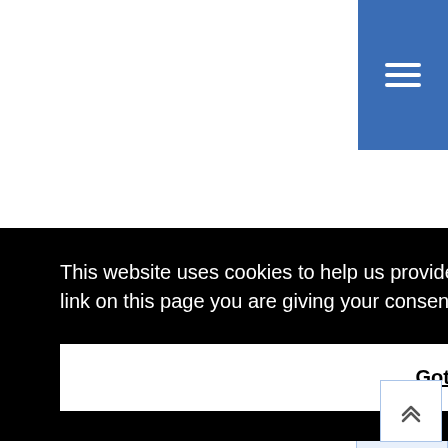[Figure (screenshot): Blue hamburger menu button in top right corner with three white horizontal lines]
This website uses cookies to help us provide you a better experience. By clicking any link on this page you are giving your consent for us to set cookies.  Learn more
Got it!
[Figure (other): Scroll-to-top button with double chevron up icon in bottom right corner]